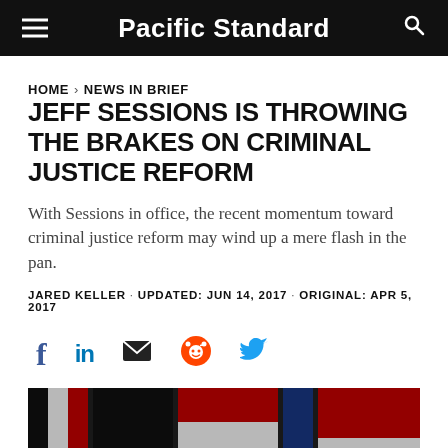Pacific Standard
HOME > NEWS IN BRIEF
JEFF SESSIONS IS THROWING THE BRAKES ON CRIMINAL JUSTICE REFORM
With Sessions in office, the recent momentum toward criminal justice reform may wind up a mere flash in the pan.
JARED KELLER · UPDATED: JUN 14, 2017 · ORIGINAL: APR 5, 2017
[Figure (other): Social sharing icons: Facebook, LinkedIn, Email, Reddit, Twitter]
[Figure (photo): Photograph of flags, including what appear to be American flags in red, white, and black, against a dark background]